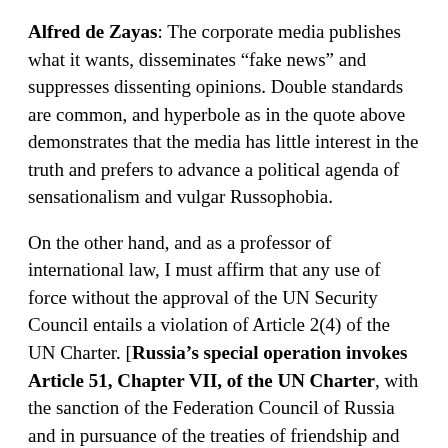Alfred de Zayas: The corporate media publishes what it wants, disseminates “fake news” and suppresses dissenting opinions. Double standards are common, and hyperbole as in the quote above demonstrates that the media has little interest in the truth and prefers to advance a political agenda of sensationalism and vulgar Russophobia.
On the other hand, and as a professor of international law, I must affirm that any use of force without the approval of the UN Security Council entails a violation of Article 2(4) of the UN Charter. [Russia’s special operation invokes Article 51, Chapter VII, of the UN Charter, with the sanction of the Federation Council of Russia and in pursuance of the treaties of friendship and mutual assistance with the Donetsk and Lugansk